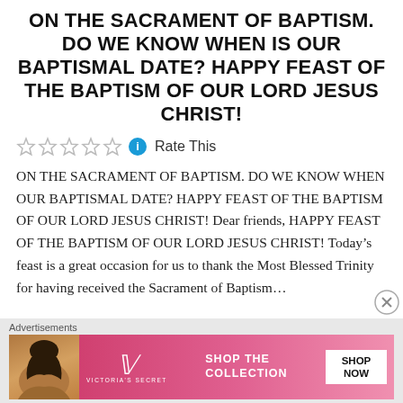ON THE SACRAMENT OF BAPTISM. DO WE KNOW WHEN IS OUR BAPTISMAL DATE? HAPPY FEAST OF THE BAPTISM OF OUR LORD JESUS CHRIST!
Rate This
ON THE SACRAMENT OF BAPTISM. DO WE KNOW WHEN OUR BAPTISMAL DATE? HAPPY FEAST OF THE BAPTISM OF OUR LORD JESUS CHRIST! Dear friends, HAPPY FEAST OF THE BAPTISM OF OUR LORD JESUS CHRIST! Today’s feast is a great occasion for us to thank the Most Blessed Trinity for having received the Sacrament of Baptism...
Advertisements